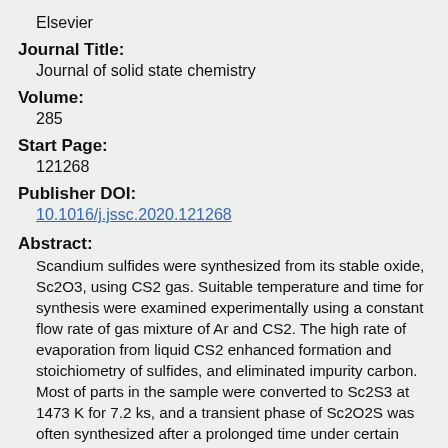Elsevier
Journal Title:
Journal of solid state chemistry
Volume:
285
Start Page:
121268
Publisher DOI:
10.1016/j.jssc.2020.121268
Abstract:
Scandium sulfides were synthesized from its stable oxide, Sc2O3, using CS2 gas. Suitable temperature and time for synthesis were examined experimentally using a constant flow rate of gas mixture of Ar and CS2. The high rate of evaporation from liquid CS2 enhanced formation and stoichiometry of sulfides, and eliminated impurity carbon. Most of parts in the sample were converted to Sc2S3 at 1473 K for 7.2 ks, and a transient phase of Sc2O2S was often synthesized after a prolonged time under certain oxygen and sulfur potentials.